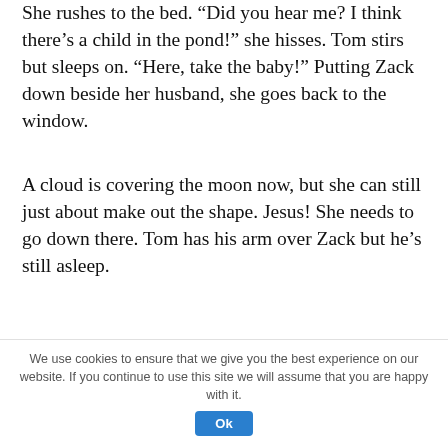She rushes to the bed. “Did you hear me? I think there’s a child in the pond!” she hisses. Tom stirs but sleeps on. “Here, take the baby!” Putting Zack down beside her husband, she goes back to the window.
A cloud is covering the moon now, but she can still just about make out the shape. Jesus! She needs to go down there. Tom has his arm over Zack but he’s still asleep.
She goes back and bends over him. “Tom! Did you hear me? You need to mind Zack – don’t let him roll – okay?”
We use cookies to ensure that we give you the best experience on our website. If you continue to use this site we will assume that you are happy with it.